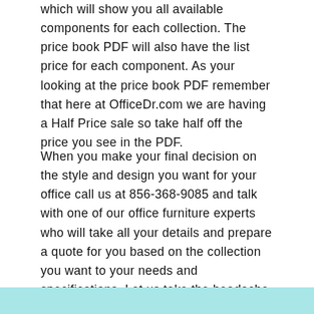which will show you all available components for each collection. The price book PDF will also have the list price for each component. As your looking at the price book PDF remember that here at OfficeDr.com we are having a Half Price sale so take half off the price you see in the PDF.
When you make your final decision on the style and design you want for your office call us at 856-368-9085 and talk with one of our office furniture experts who will take all your details and prepare a quote for you based on the collection you want to your needs and specifications. Let us take the headache out of your office furniture search. Call Now 856-368-9085 and Save Today!